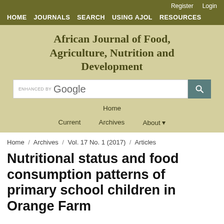Register  Login
HOME  JOURNALS  SEARCH  USING AJOL  RESOURCES
African Journal of Food, Agriculture, Nutrition and Development
[Figure (other): Google enhanced search bar with search button]
Home
Current   Archives   About
Home / Archives / Vol. 17 No. 1 (2017) / Articles
Nutritional status and food consumption patterns of primary school children in Orange Farm